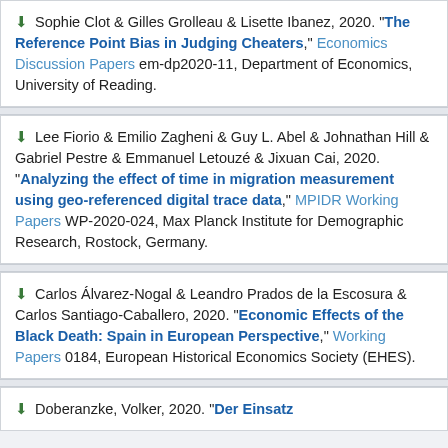Sophie Clot & Gilles Grolleau & Lisette Ibanez, 2020. "The Reference Point Bias in Judging Cheaters," Economics Discussion Papers em-dp2020-11, Department of Economics, University of Reading.
Lee Fiorio & Emilio Zagheni & Guy L. Abel & Johnathan Hill & Gabriel Pestre & Emmanuel Letouzé & Jixuan Cai, 2020. "Analyzing the effect of time in migration measurement using geo-referenced digital trace data," MPIDR Working Papers WP-2020-024, Max Planck Institute for Demographic Research, Rostock, Germany.
Carlos Álvarez-Nogal & Leandro Prados de la Escosura & Carlos Santiago-Caballero, 2020. "Economic Effects of the Black Death: Spain in European Perspective," Working Papers 0184, European Historical Economics Society (EHES).
Doberanzke, Volker, 2020. "Der Einsatz